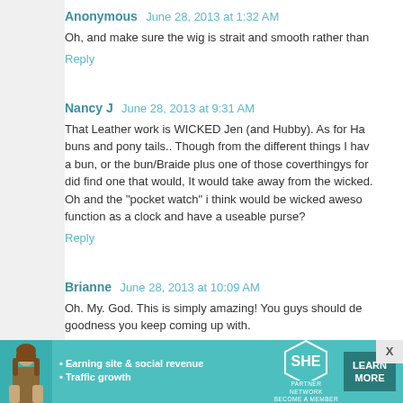Anonymous  June 28, 2013 at 1:32 AM
Oh, and make sure the wig is strait and smooth rather than...
Reply
Nancy J  June 28, 2013 at 9:31 AM
That Leather work is WICKED Jen (and Hubby). As for Ha... buns and pony tails.. Though from the different things I hav... a bun, or the bun/Braide plus one of those coverthingys for... did find one that would, It would take away from the wicked... Oh and the "pocket watch" i think would be wicked aweso... function as a clock and have a useable purse?
Reply
Brianne  June 28, 2013 at 10:09 AM
Oh. My. God. This is simply amazing! You guys should de... goodness you keep coming up with.
Reply
[Figure (infographic): Advertisement banner for SHE Partner Network with teal background, woman photo, bullets for 'Earning site & social revenue' and 'Traffic growth', SHE logo, and 'LEARN MORE' button]